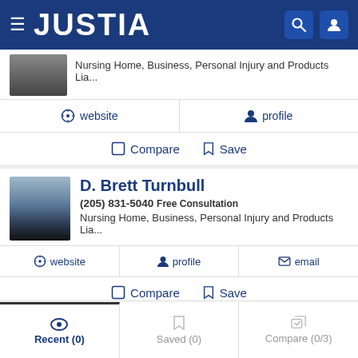JUSTIA
Nursing Home, Business, Personal Injury and Products Lia...
website   profile
Compare   Save
D. Brett Turnbull
(205) 831-5040 Free Consultation
Nursing Home, Business, Personal Injury and Products Lia...
website   profile   email
Compare   Save
Recent (0)   Saved (0)   Compare (0/3)